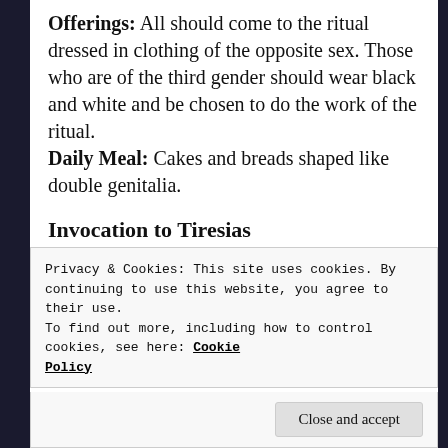Offerings: All should come to the ritual dressed in clothing of the opposite sex. Those who are of the third gender should wear black and white and be chosen to do the work of the ritual. Daily Meal: Cakes and breads shaped like double genitalia.
Invocation to Tiresias
Tiresias, great seer,
You who traded sight
For foresight,
You who traded male
Privacy & Cookies: This site uses cookies. By continuing to use this website, you agree to their use.
To find out more, including how to control cookies, see here: Cookie Policy
Close and accept